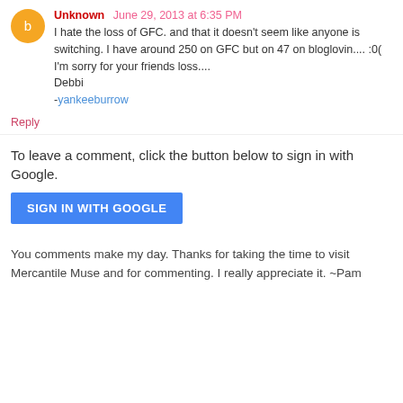Unknown  June 29, 2013 at 6:35 PM
I hate the loss of GFC. and that it doesn't seem like anyone is switching. I have around 250 on GFC but on 47 on bloglovin.... :0(
I'm sorry for your friends loss....
Debbi
-yankeeburrow
Reply
To leave a comment, click the button below to sign in with Google.
SIGN IN WITH GOOGLE
You comments make my day. Thanks for taking the time to visit Mercantile Muse and for commenting. I really appreciate it. ~Pam